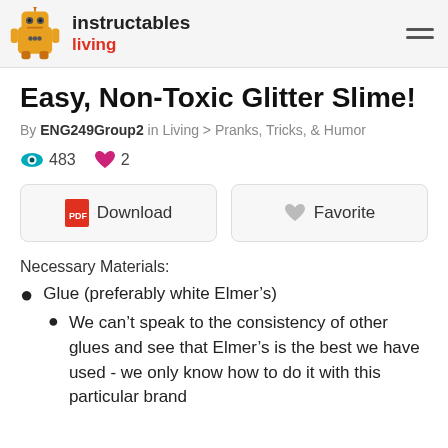instructables living
Easy, Non-Toxic Glitter Slime!
By ENG249Group2 in Living > Pranks, Tricks, & Humor
483 views  2 favorites
Download   Favorite
Necessary Materials:
Glue (preferably white Elmer’s)
We can’t speak to the consistency of other glues and see that Elmer’s is the best we have used - we only know how to do it with this particular brand